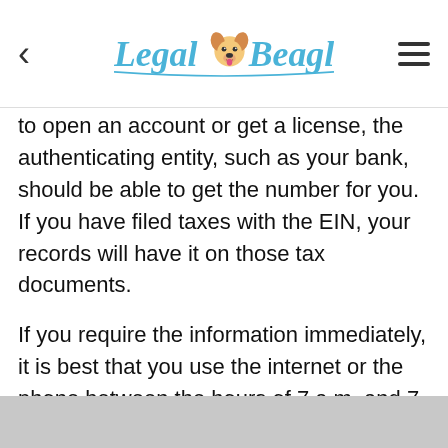Legal Beagle
to open an account or get a license, the authenticating entity, such as your bank, should be able to get the number for you. If you have filed taxes with the EIN, your records will have it on those tax documents.
If you require the information immediately, it is best that you use the internet or the phone between the hours of 7 a.m. and 7 p.m. in your timezone. Otherwise, agents will have to use regular post or fax and that will delay processing time.